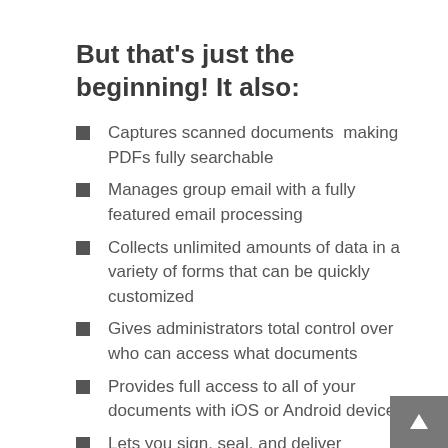But that's just the beginning! It also:
Captures scanned documents  making PDFs fully searchable
Manages group email with a fully featured email processing
Collects unlimited amounts of data in a variety of forms that can be quickly customized
Gives administrators total control over who can access what documents
Provides full access to all of your documents with iOS or Android devices
Lets you sign, seal, and deliver